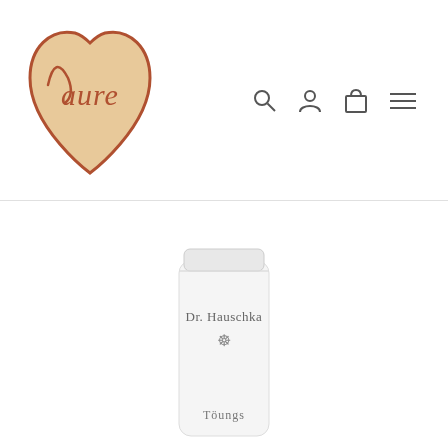[Figure (logo): Heart-shaped logo in peach/tan color with cursive text 'aure' written inside in terracotta/rust color]
[Figure (illustration): Navigation icons: search (magnifying glass), user/person, shopping bag/cart, and hamburger menu (three lines)]
[Figure (photo): White Dr. Hauschka cosmetic tube product labeled 'Dr. Hauschka' with brand logo symbol and 'Töungs' text at the bottom, photographed on white background]